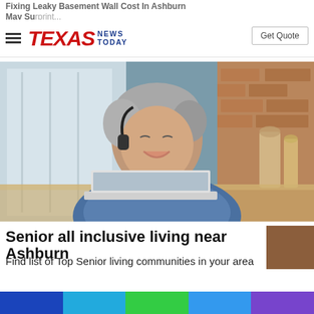Fixing Leaky Basement Wall Cost In Ashburn May Surprise You
[Figure (logo): Texas News Today logo with hamburger menu icon]
Get Quote
[Figure (photo): Middle-aged woman with short grey hair smiling and laughing while using a laptop, wearing a blue denim shirt, sitting in a kitchen with brick wall background]
Senior all inclusive living near Ashburn
Find list of Top Senior living communities in your area
[Figure (photo): Small brown thumbnail image]
[Figure (infographic): Colored bottom bar segments: dark blue, light blue, green, blue, purple]